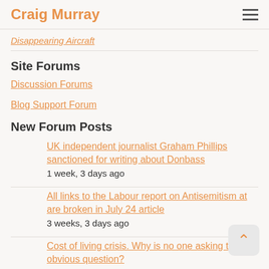Craig Murray
Disappearing Aircraft
Site Forums
Discussion Forums
Blog Support Forum
New Forum Posts
UK independent journalist Graham Phillips sanctioned for writing about Donbass
1 week, 3 days ago
All links to the Labour report on Antisemitism at are broken in July 24 article
3 weeks, 3 days ago
Cost of living crisis. Why is no one asking the obvious question?
1 week, 6 days ago